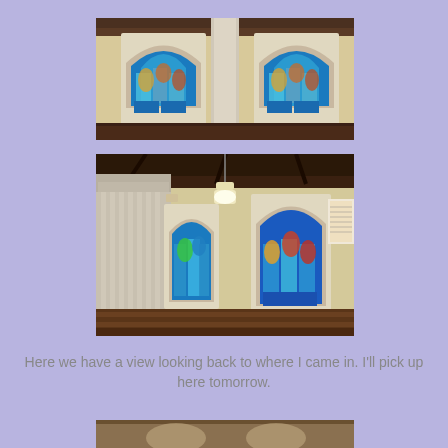[Figure (photo): Interior of a church showing two Gothic arched stained glass windows with colorful religious scenes (blue and green tones), cream-colored walls, a white column in the center, and dark wooden ceiling beams.]
[Figure (photo): Interior of a church looking back toward the entrance, showing a tall white classical column with ornate capital, two Gothic arched stained glass windows with colorful religious imagery, wooden pews, a hanging pendant light, a notice board on the right wall, and dark wooden ceiling beams.]
Here we have a view looking back to where I came in. I'll pick up here tomorrow.
[Figure (photo): Partial view of another church interior photo, cropped at the bottom of the page.]